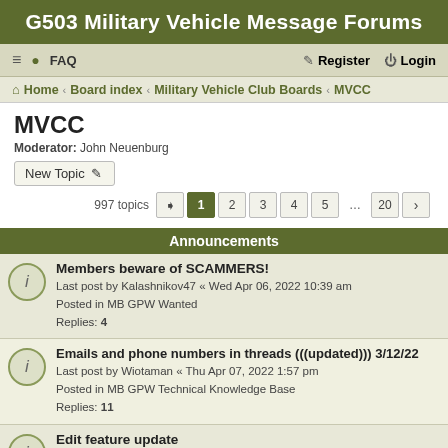G503 Military Vehicle Message Forums
≡  FAQ  Register  Login
Home › Board index › Military Vehicle Club Boards › MVCC
MVCC
Moderator: John Neuenburg
New Topic
997 topics  1 2 3 4 5 ... 20 ›
Announcements
Members beware of SCAMMERS!
Last post by Kalashnikov47 « Wed Apr 06, 2022 10:39 am
Posted in MB GPW Wanted
Replies: 4
Emails and phone numbers in threads (((updated))) 3/12/22
Last post by Wiotaman « Thu Apr 07, 2022 1:57 pm
Posted in MB GPW Technical Knowledge Base
Replies: 11
Edit feature update
Last post by Bill H. « Fri Dec 03, 2021 6:07 pm
Posted in MB GPW Technical Knowledge Base
Replies: 17